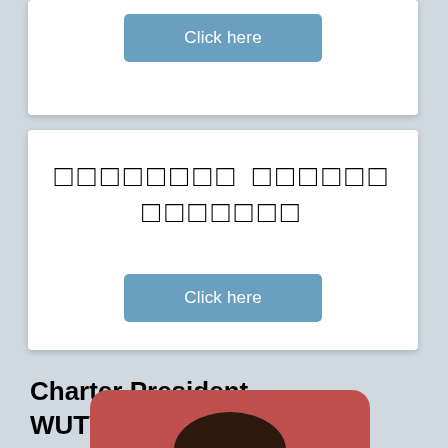[Figure (other): A blue rounded button labeled 'Click here' on a white card background (partially visible at top of page)]
□□□□□□□□ □□□□□□ □□□□□□□
[Figure (other): A blue rounded button labeled 'Click here' on a white card]
Charter President - WUTWAS
[Figure (photo): Photo of a man with glasses smiling, against a red/coral background, partially visible at the bottom of the page]